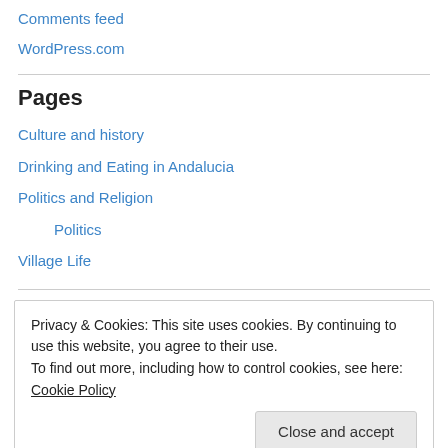Comments feed
WordPress.com
Pages
Culture and history
Drinking and Eating in Andalucia
Politics and Religion
Politics
Village Life
Privacy & Cookies: This site uses cookies. By continuing to use this website, you agree to their use. To find out more, including how to control cookies, see here: Cookie Policy
Close and accept